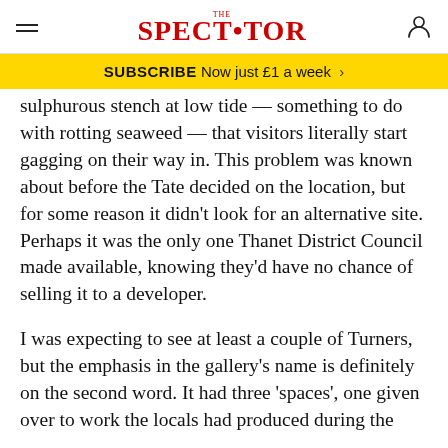THE SPECTATOR
SUBSCRIBE Now just £1 a week >
sulphurous stench at low tide — something to do with rotting seaweed — that visitors literally start gagging on their way in. This problem was known about before the Tate decided on the location, but for some reason it didn't look for an alternative site. Perhaps it was the only one Thanet District Council made available, knowing they'd have no chance of selling it to a developer.
I was expecting to see at least a couple of Turners, but the emphasis in the gallery's name is definitely on the second word. It had three 'spaces', one given over to work the locals had produced during the